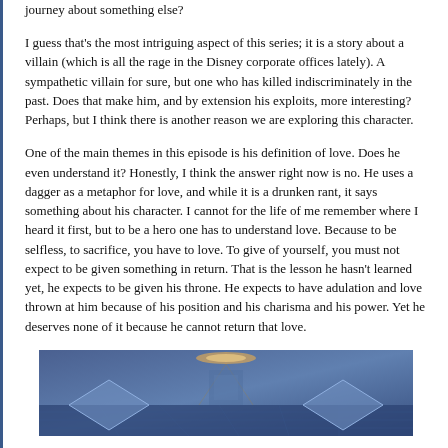journey about something else?
I guess that's the most intriguing aspect of this series; it is a story about a villain (which is all the rage in the Disney corporate offices lately). A sympathetic villain for sure, but one who has killed indiscriminately in the past. Does that make him, and by extension his exploits, more interesting? Perhaps, but I think there is another reason we are exploring this character.
One of the main themes in this episode is his definition of love. Does he even understand it? Honestly, I think the answer right now is no. He uses a dagger as a metaphor for love, and while it is a drunken rant, it says something about his character. I cannot for the life of me remember where I heard it first, but to be a hero one has to understand love. Because to be selfless, to sacrifice, you have to love. To give of yourself, you must not expect to be given something in return. That is the lesson he hasn't learned yet, he expects to be given his throne. He expects to have adulation and love thrown at him because of his position and his charisma and his power. Yet he deserves none of it because he cannot return that love.
[Figure (screenshot): A screenshot from an animated scene showing a stylized geometric or architectural interior with blue-teal tones and glowing elements at the top.]